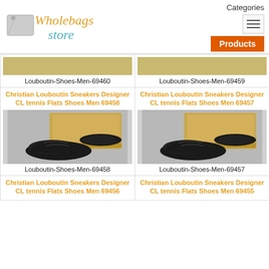Wholebags Store — Categories / Products navigation
Louboutin-Shoes-Men-69460
Louboutin-Shoes-Men-69459
Christian Louboutin Sneakers Designer CL tennis Flats Shoes Men 69458
[Figure (photo): Black sneaker shoes with spikes, Christian Louboutin, product 69458]
Louboutin-Shoes-Men-69458
Christian Louboutin Sneakers Designer CL tennis Flats Shoes Men 69457
[Figure (photo): Black sneaker shoes with spikes, Christian Louboutin, product 69457]
Louboutin-Shoes-Men-69457
Christian Louboutin Sneakers Designer CL tennis Flats Shoes Men 69456
Christian Louboutin Sneakers Designer CL tennis Flats Shoes Men 69455